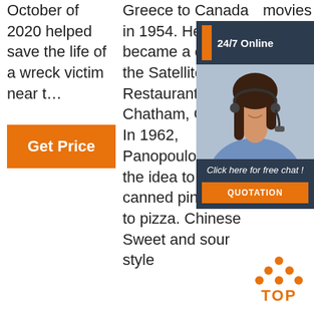October of 2020 helped save the life of a wreck victim near t…
[Figure (other): Orange 'Get Price' button]
Greece to Canada in 1954. He became a chef at the Satellite Restaurant in Chatham, Ontario. In 1962, Panopoulos had the idea to add canned pineapple to pizza. Chinese Sweet and sour style
movies and clips.
[Figure (infographic): 24/7 Online chat widget with woman wearing headset, 'Click here for free chat!' text, and orange QUOTATION button]
[Figure (other): Orange TOP button with dot triangle above the word TOP]